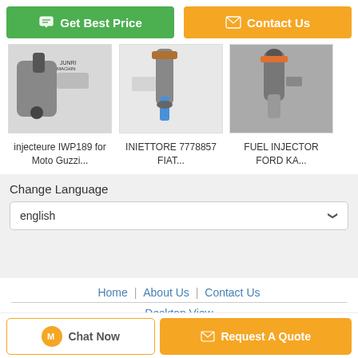[Figure (screenshot): Two call-to-action buttons: green 'Get Best Price' and orange 'Contact Us']
[Figure (photo): Three product thumbnail images: injecteure IWP189 for Moto Guzzi fuel injector, INIETTORE 7778857 FIAT fuel injector, FUEL INJECTOR FORD KA]
injecteure IWP189 for Moto Guzzi...
INIETTORE 7778857 FIAT...
FUEL INJECTOR FORD KA...
Change Language
english
Home | About Us | Contact Us
Desktop View
China fuel injector Supplier. Copyright © 2016 - 2022 junriinjector.com. All rights reserved. Developed by ECER
[Figure (screenshot): Two bottom buttons: 'Chat Now' with chat icon and orange 'Request A Quote' with envelope icon]